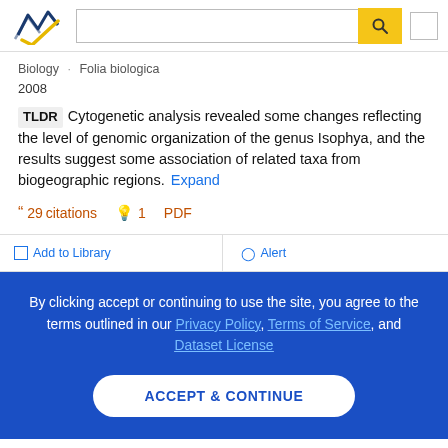[Figure (logo): Semantic Scholar logo with stylized checkmark/book icon in navy and gold]
Biology · Folia biologica
2008
TLDR Cytogenetic analysis revealed some changes reflecting the level of genomic organization of the genus Isophya, and the results suggest some association of related taxa from biogeographic regions. Expand
29 citations  1  PDF
Add to Library   Alert
By clicking accept or continuing to use the site, you agree to the terms outlined in our Privacy Policy, Terms of Service, and Dataset License
ACCEPT & CONTINUE